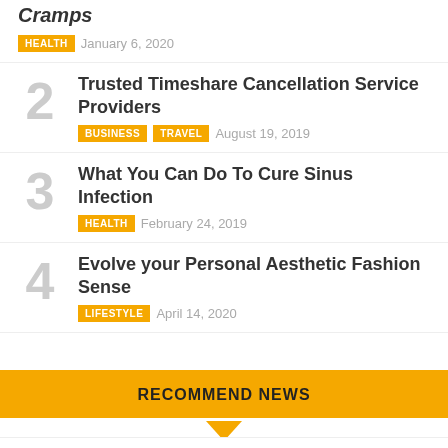Cramps
HEALTH  January 6, 2020
2  Trusted Timeshare Cancellation Service Providers  BUSINESS  TRAVEL  August 19, 2019
3  What You Can Do To Cure Sinus Infection  HEALTH  February 24, 2019
4  Evolve your Personal Aesthetic Fashion Sense  LIFESTYLE  April 14, 2020
RECOMMEND NEWS